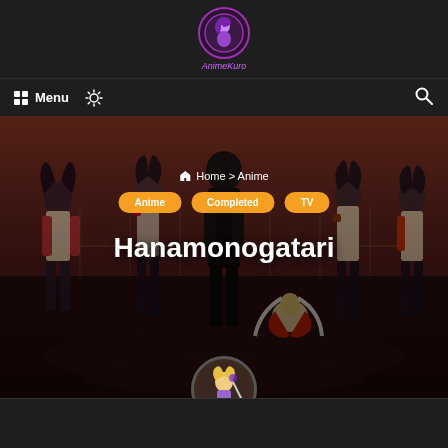AnimeKuro logo and navigation bar with Menu, light-mode toggle, and search icon
[Figure (screenshot): AnimeKuro website screenshot showing header with purple logo, navigation bar with Menu and search icons, hero banner with anime characters from Hanamonogatari, breadcrumb navigation (Home > Anime), tag pills (Anime, Completed, TV), title Hanamonogatari, and a circular character avatar at the bottom]
Hanamonogatari
Home > Anime
Anime
Completed
TV